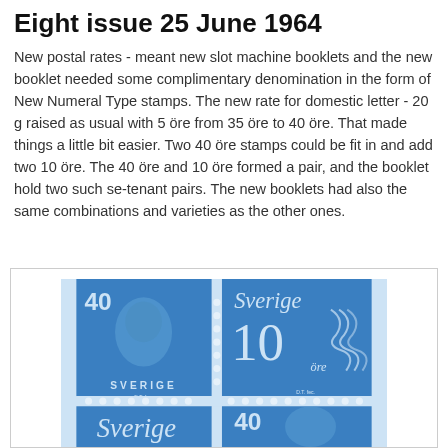Eight issue 25 June 1964
New postal rates - meant new slot machine booklets and the new booklet needed some complimentary denomination in the form of New Numeral Type stamps. The new rate for domestic letter  - 20 g raised as usual with 5 öre from 35 öre to 40 öre. That made things a little bit easier. Two 40 öre stamps could be fit in and add two 10 öre. The 40 öre and 10 öre formed a pair, and the booklet hold two such se-tenant pairs. The new booklets had also the same combinations and varieties as the other ones.
[Figure (photo): Photo of Swedish postage stamps from 1964: a se-tenant pair showing a 40 öre stamp with King Gustaf VI Adolf portrait and a 10 öre Sverige numeral stamp, with another partial pair visible below.]